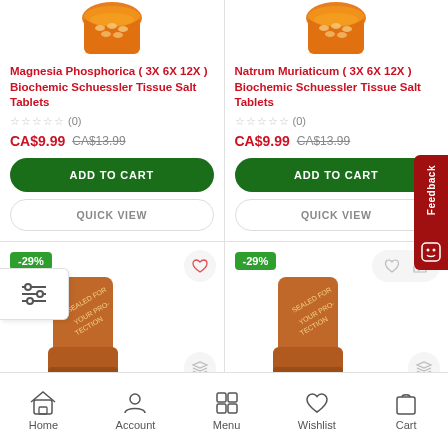[Figure (photo): Orange pill bottle top, partially cropped at top left]
Magnesia Phosphorica ( 3X 6X 12X ) Biochemic Schuessler Tissue Salt Tablets
☆☆☆☆☆ (0)
CA$9.99  CA$13.99
ADD TO CART
QUICK VIEW
[Figure (photo): Orange pill bottle top, partially cropped at top right]
Natrum Muriaticum ( 3X 6X 12X ) Biochemic Schuessler Tissue Salt Tablets
☆☆☆☆☆ (0)
CA$9.99  CA$13.99
ADD TO CART
QUICK VIEW
[Figure (photo): Second row left product: -29% badge, orange pill bottle bottom]
[Figure (photo): Second row right product: -29% badge, orange pill bottle bottom]
Home  Account  Menu  Wishlist  Cart